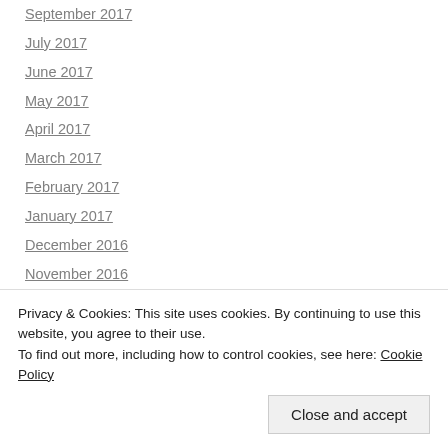September 2017
July 2017
June 2017
May 2017
April 2017
March 2017
February 2017
January 2017
December 2016
November 2016
October 2016
September 2016
August 2016
Privacy & Cookies: This site uses cookies. By continuing to use this website, you agree to their use. To find out more, including how to control cookies, see here: Cookie Policy
Close and accept